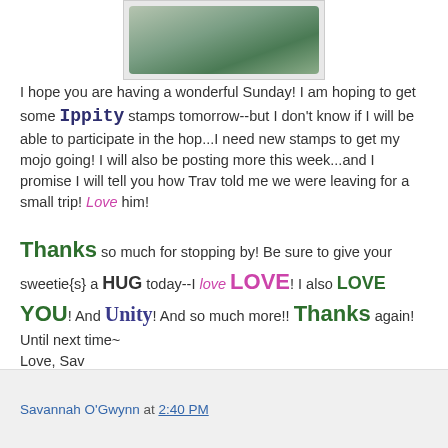[Figure (photo): Partial photo of a decorative object on a white background, showing the base of what appears to be a vintage or antique item with a green/bronze patina]
I hope you are having a wonderful Sunday! I am hoping to get some Ippity stamps tomorrow--but I don't know if I will be able to participate in the hop...I need new stamps to get my mojo going! I will also be posting more this week...and I promise I will tell you how Trav told me we were leaving for a small trip! Love him!
Thanks so much for stopping by! Be sure to give your sweetie{s} a HUG today--I love LOVE! I also LOVE YOU! And Unity! And so much more!! Thanks again! Until next time~ Love, Sav
Savannah O'Gwynn at 2:40 PM